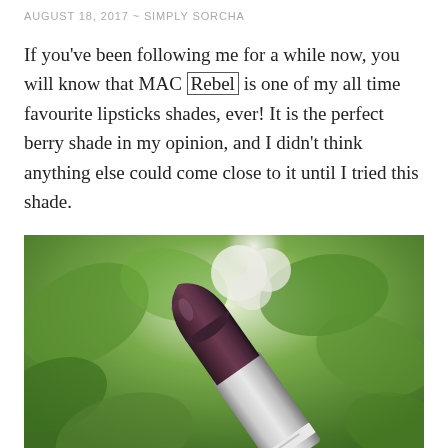AUGUST 18, 2017 ~ SIMPLY SORCHA
If you've been following me for a while now, you will know that MAC Rebel is one of my all time favourite lipsticks shades, ever! It is the perfect berry shade in my opinion, and I didn't think anything else could come close to it until I tried this shade.
[Figure (photo): Close-up photo of a dark berry-coloured lipstick bullet against a blurred green leafy background with a white flower blur in the upper portion.]